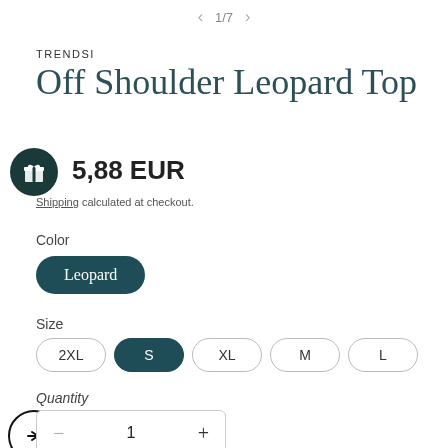< 1/7 >
TRENDSI
Off Shoulder Leopard Top
5,88 EUR
Shipping calculated at checkout.
Color
Leopard
Size
2XL
S
XL
M
L
Quantity
1